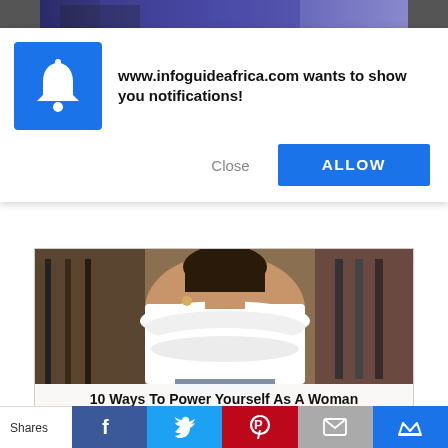[Figure (screenshot): Top partial image strip showing person in colorful blue/purple clothing]
www.infoguideafrica.com wants to show you notifications!
Close
ALLOW
[Figure (photo): Woman wearing white off-shoulder ruffled crop top in a clothing store]
10 Ways To Power Yourself As A Woman
[Figure (photo): Partial thumbnail of a second article image]
Shares | Facebook | Twitter | Pinterest | Email | SU